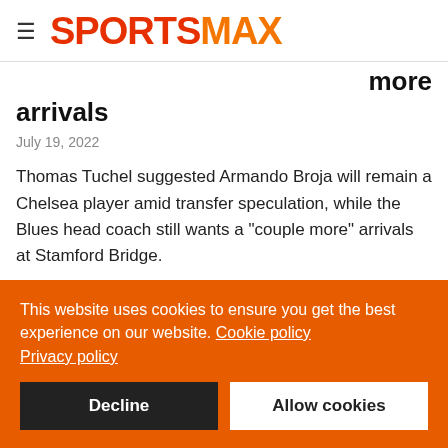SPORTSMAX
more arrivals
July 19, 2022
Thomas Tuchel suggested Armando Broja will remain a Chelsea player amid transfer speculation, while the Blues head coach still wants a "couple more" arrivals at Stamford Bridge.
West Ham, Everton and Newcastle United are reportedly interested in Broja, who scored six goals in 32 Premier League
This website uses cookies to ensure you get the best experience on our website. Cookie policy Privacy policy
Decline
Allow cookies